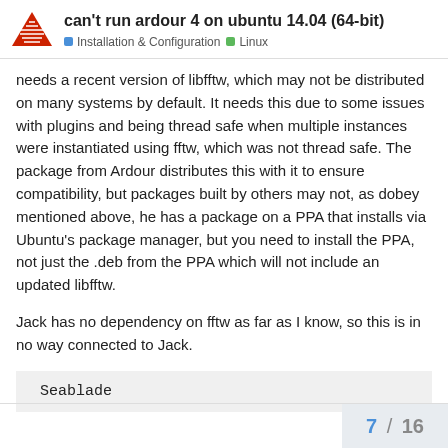can't run ardour 4 on ubuntu 14.04 (64-bit) | Installation & Configuration | Linux
needs a recent version of libfftw, which may not be distributed on many systems by default. It needs this due to some issues with plugins and being thread safe when multiple instances were instantiated using fftw, which was not thread safe. The package from Ardour distributes this with it to ensure compatibility, but packages built by others may not, as dobey mentioned above, he has a package on a PPA that installs via Ubuntu's package manager, but you need to install the PPA, not just the .deb from the PPA which will not include an updated libfftw.
Jack has no dependency on fftw as far as I know, so this is in no way connected to Jack.
Seablade
7 / 16